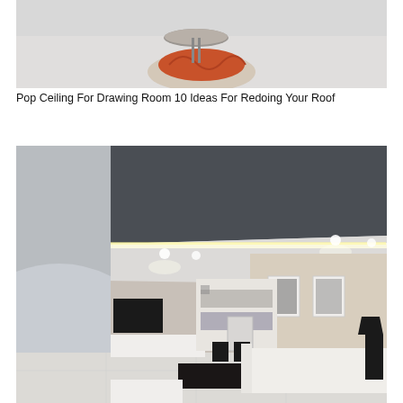[Figure (photo): Interior room photo showing a round ottoman/pouf with an orange/red draped blanket and a round metallic tray table on a light carpet, cropped at top of page.]
Pop Ceiling For Drawing Room 10 Ideas For Redoing Your Roof
[Figure (photo): Modern living room interior with a dark grey geometric pop ceiling featuring recessed lighting and LED cove lights. Room has white sofas, black coffee table, dining chairs, wall-mounted TV, built-in shelving unit, and wall art in a contemporary style.]